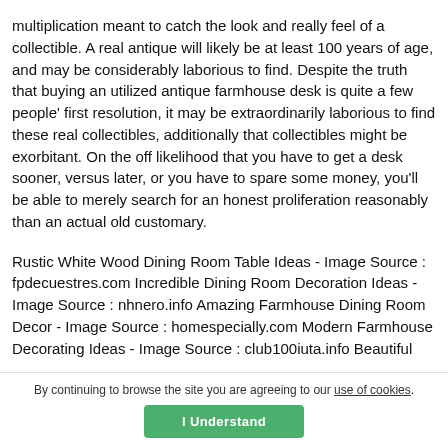multiplication meant to catch the look and really feel of a collectible. A real antique will likely be at least 100 years of age, and may be considerably laborious to find. Despite the truth that buying an utilized antique farmhouse desk is quite a few people' first resolution, it may be extraordinarily laborious to find these real collectibles, additionally that collectibles might be exorbitant. On the off likelihood that you have to get a desk sooner, versus later, or you have to spare some money, you'll be able to merely search for an honest proliferation reasonably than an actual old customary.
Rustic White Wood Dining Room Table Ideas - Image Source : fpdecuestres.com Incredible Dining Room Decoration Ideas - Image Source : nhnero.info Amazing Farmhouse Dining Room Decor - Image Source : homespecially.com Modern Farmhouse Decorating Ideas - Image Source : club100iuta.info Beautiful
By continuing to browse the site you are agreeing to our use of cookies. I Understand